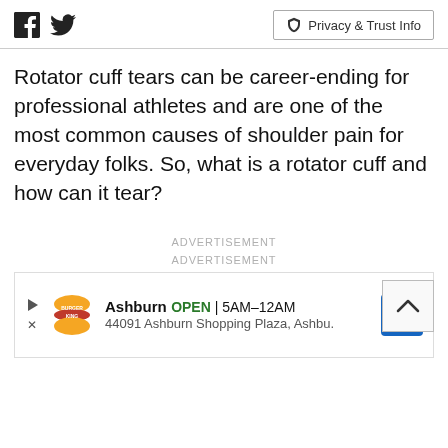Facebook | Twitter | Privacy & Trust Info
Rotator cuff tears can be career-ending for professional athletes and are one of the most common causes of shoulder pain for everyday folks. So, what is a rotator cuff and how can it tear?
ADVERTISEMENT
ADVERTISEMENT
[Figure (other): Burger King ad banner: Ashburn OPEN 5AM–12AM, 44091 Ashburn Shopping Plaza, Ashbu. with Burger King logo and map direction icon]